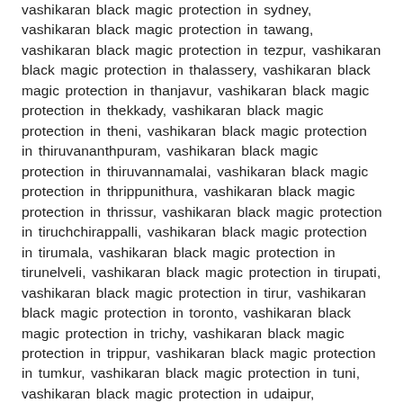vashikaran black magic protection in sydney, vashikaran black magic protection in tawang, vashikaran black magic protection in tezpur, vashikaran black magic protection in thalassery, vashikaran black magic protection in thanjavur, vashikaran black magic protection in thekkady, vashikaran black magic protection in theni, vashikaran black magic protection in thiruvananthpuram, vashikaran black magic protection in thiruvannamalai, vashikaran black magic protection in thrippunithura, vashikaran black magic protection in thrissur, vashikaran black magic protection in tiruchchirappalli, vashikaran black magic protection in tirumala, vashikaran black magic protection in tirunelveli, vashikaran black magic protection in tirupati, vashikaran black magic protection in tirur, vashikaran black magic protection in toronto, vashikaran black magic protection in trichy, vashikaran black magic protection in trippur, vashikaran black magic protection in tumkur, vashikaran black magic protection in tuni, vashikaran black magic protection in udaipur, vashikaran black magic protection in udhampur, vashikaran black magic protection in udupi, vashikaran black magic protection in ujjin, vashikaran